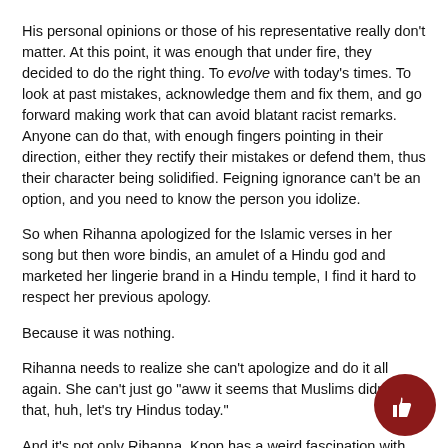His personal opinions or those of his representative really don't matter. At this point, it was enough that under fire, they decided to do the right thing. To evolve with today's times. To look at past mistakes, acknowledge them and fix them, and go forward making work that can avoid blatant racist remarks. Anyone can do that, with enough fingers pointing in their direction, either they rectify their mistakes or defend them, thus their character being solidified. Feigning ignorance can't be an option, and you need to know the person you idolize.
So when Rihanna apologized for the Islamic verses in her song but then wore bindis, an amulet of a Hindu god and marketed her lingerie brand in a Hindu temple, I find it hard to respect her previous apology.
Because it was nothing.
Rihanna needs to realize she can't apologize and do it all again. She can't just go "aww it seems that Muslims didn't like that, huh, let's try Hindus today."
And it's not only Rihanna. Kpop has a weird fascination with Hindu gods and hymns, as do certain people on Instagram, specifically one who sexualizes them on t-shirts they sell, and when criticized, caption it "TW Blasphemy" while the comments call the gods slurs. I can't ask them to respect the gods; they're nothing to this person, and I have to accept that. Just like that girl who wore a kimono to her prom and called it "just a dress." Educating someone is an uphill journey, but having consequences for actions can make a larger difference.
And I'm not belittling the centuries of pain Black people go through by highlighting Asian racism. All I'm asking is that the pain of Asians and other POC isn't disregarded, especially nowadays. Let's stop playing the Oppression Olympics, and realize ALL POC go through similar experiences and share should be shared...